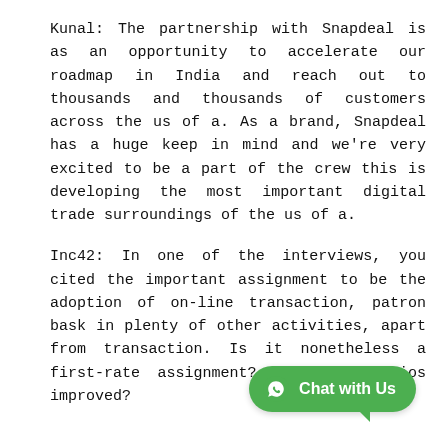Kunal: The partnership with Snapdeal is as an opportunity to accelerate our roadmap in India and reach out to thousands and thousands of customers across the us of a. As a brand, Snapdeal has a huge keep in mind and we're very excited to be a part of the crew this is developing the most important digital trade surroundings of the us of a.
Inc42: In one of the interviews, you cited the important assignment to be the adoption of on-line transaction, patron bask in plenty of other activities, apart from transaction. Is it nonetheless a first-rate assignment? Have the ratios improved?
[Figure (other): Green WhatsApp-style chat button with 'Chat with Us' label and WhatsApp logo icon, positioned in the bottom-right corner of the page.]